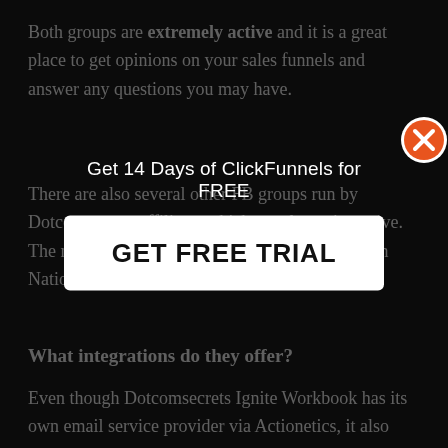Both groups are extremely active and it is a great place to get opinions on your sales funnels and answer any questions you may have.
There are also several other FB groups run by Dotcomsecrets affiliates which are also quite active. The main one I recommend joining is Automation Nation by Spencer Mecham who is Click...
What integrations do they offer?
Even though Dotcomsecrets Ignite Workbook has its own email service provider via Actionetics, it also integrates directly with all the best email
[Figure (other): Popup modal overlay with 'Get 14 Days of ClickFunnels for FREE' title and 'GET FREE TRIAL' button, with an orange X close button in the top right corner]